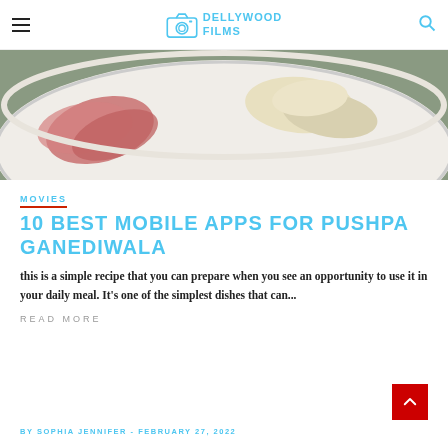DELLYWOOD FILMS
[Figure (photo): Close-up photo of a white plate with rolled meat slices and white melon/fruit pieces on a textured surface]
MOVIES
10 BEST MOBILE APPS FOR PUSHPA GANEDIWALA
this is a simple recipe that you can prepare when you see an opportunity to use it in your daily meal. It's one of the simplest dishes that can...
READ MORE
BY SOPHIA JENNIFER - FEBRUARY 27, 2022